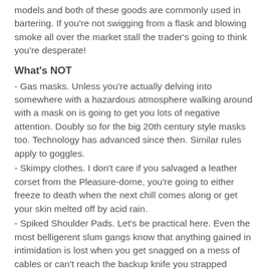models and both of these goods are commonly used in bartering. If you're not swigging from a flask and blowing smoke all over the market stall the trader's going to think you're desperate!
What's NOT
- Gas masks. Unless you're actually delving into somewhere with a hazardous atmosphere walking around with a mask on is going to get you lots of negative attention. Doubly so for the big 20th century style masks too. Technology has advanced since then. Similar rules apply to goggles.
- Skimpy clothes. I don't care if you salvaged a leather corset from the Pleasure-dome, you're going to either freeze to death when the next chill comes along or get your skin melted off by acid rain.
- Spiked Shoulder Pads. Let's be practical here. Even the most belligerent slum gangs know that anything gained in intimidation is lost when you get snagged on a mess of cables or can't reach the backup knife you strapped behind your back.
- Mohawks. They're so done and deny you the opportunity for some fabulous headgear.